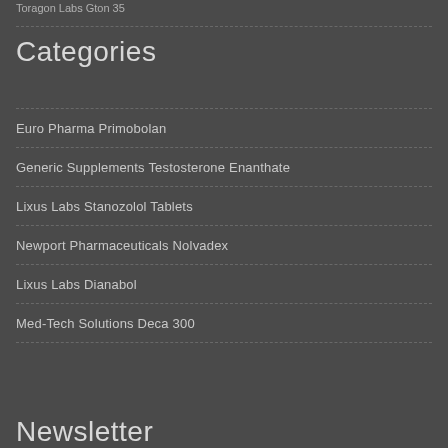Toragon Labs Gton 35
Categories
Euro Pharma Primobolan
Generic Supplements Testosterone Enanthate
Lixus Labs Stanozolol Tablets
Newport Pharmaceuticals Nolvadex
Lixus Labs Dianabol
Med-Tech Solutions Deca 300
Newsletter